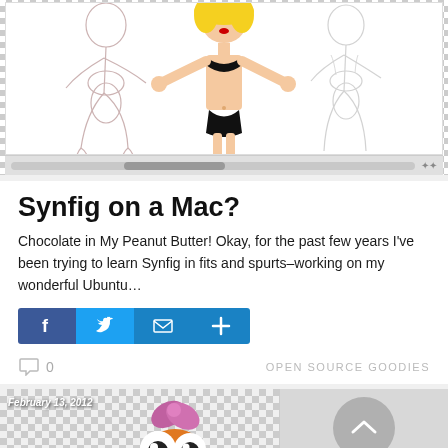[Figure (illustration): Anime/comic style illustration showing three female figure poses - pencil sketches on left and right, colored center figure in black bikini with blonde hair and red lips, on white/transparent background with checkered transparency pattern visible]
Synfig on a Mac?
Chocolate in My Peanut Butter! Okay, for the past few years I've been trying to learn Synfig in fits and spurts–working on my wonderful Ubuntu…
[Figure (infographic): Social share button bar with Facebook (f), Twitter (bird), Email (envelope), and Plus (+) icons in blue backgrounds]
0
OPEN SOURCE GOODIES
[Figure (illustration): Bottom strip showing: left side - checkered transparency background with a cartoon orange character wearing a pink bow, with date badge 'February 13, 2012'; right side - gray area with circular back-to-top button arrow and file manager bar showing icon/name columns]